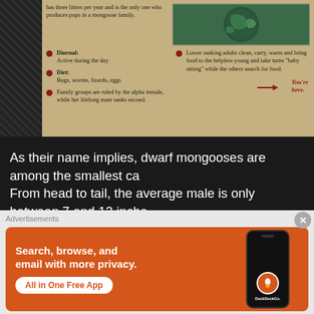[Figure (infographic): Informational panel about dwarf mongooses on a tan/beige background with red bullet points. Left column shows bullet points about diurnal behavior, diet, and family group structure. Right column shows a globe image and text about lower-ranking adults caring for young. A 'You're here.' label appears near the globe.]
Diurnal: Active during the day
Diet: Bugs, worms, lizards, eggs
Family groups are ruled by the alpha female, while her lifelong mate ranks second.
Lower ranking adults clean, carry, warm and bring food to the helpless young and take turns "baby sitting" while the others search for food.
As their name implies, dwarf mongooses are among the smallest ca… From head to tail, the average male is only between 7 and 12 inche… than 1 pound.
Dwarf mongooses are covered in dense fur that can range in color,
Advertisements
[Figure (infographic): DuckDuckGo advertisement banner on orange background. Text: 'Search, browse, and email with more privacy. All in One Free App'. Shows a phone mockup with DuckDuckGo logo and text 'DuckDuckGo.']